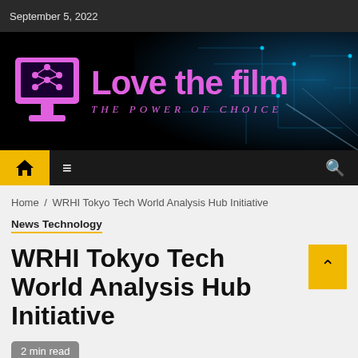September 5, 2022
[Figure (logo): Love the film website banner with pink monitor/network logo icon, pink text 'Love the film' and italic subtitle 'THE POWER OF CHOICE' on a dark background with teal circuit board glow]
Home / WRHI Tokyo Tech World Analysis Hub Initiative
News Technology
WRHI Tokyo Tech World Analysis Hub Initiative
2 min read